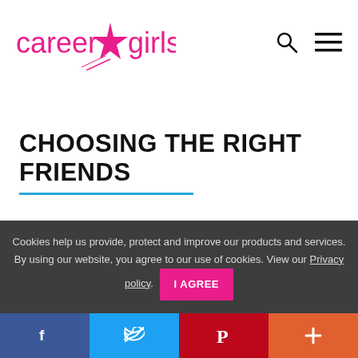[Figure (logo): Career Girls logo with pink star between 'career' and 'girls' text]
CHOOSING THE RIGHT FRIENDS
Cookies help us provide, protect and improve our products and services. By using our website, you agree to our use of cookies. View our Privacy policy.
I AGREE
[Figure (infographic): Social share bar with Facebook, Twitter, Pinterest, and plus buttons]